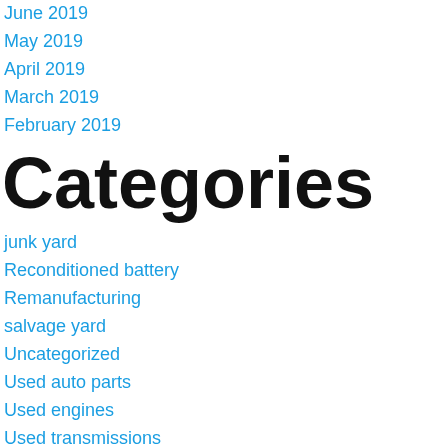June 2019
May 2019
April 2019
March 2019
February 2019
Categories
junk yard
Reconditioned battery
Remanufacturing
salvage yard
Uncategorized
Used auto parts
Used engines
Used transmissions
Warranty
Meta